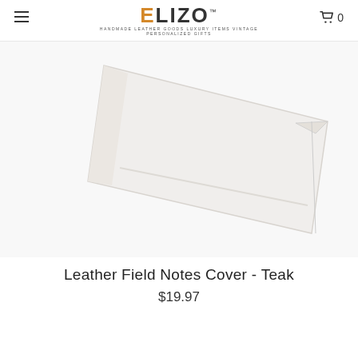≡  ELIZO™  HANDMADE LEATHER GOODS LUXURY ITEMS VINTAGE PERSONALIZED GIFTS  🛒 0
[Figure (photo): Product photo of a Leather Field Notes Cover in Teak color, shown as a flat lay on white background. The cover appears light/cream colored with subtle edges visible.]
Leather Field Notes Cover - Teak
$19.97